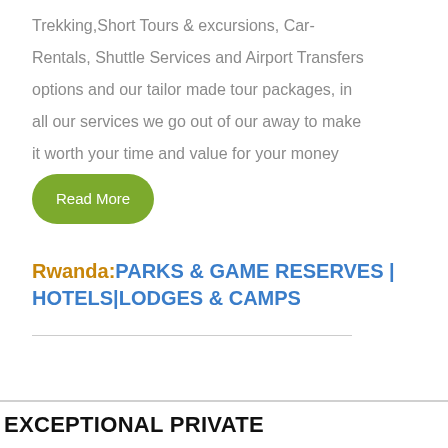Trekking,Short Tours & excursions, Car-Rentals, Shuttle Services and Airport Transfers options and our tailor made tour packages, in all our services we go out of our away to make it worth your time and value for your money
Read More
Rwanda:PARKS & GAME RESERVES | HOTELS|LODGES & CAMPS
EXCEPTIONAL PRIVATE CONSERVANCIES FLY-IN SAFARI PACKAGES: